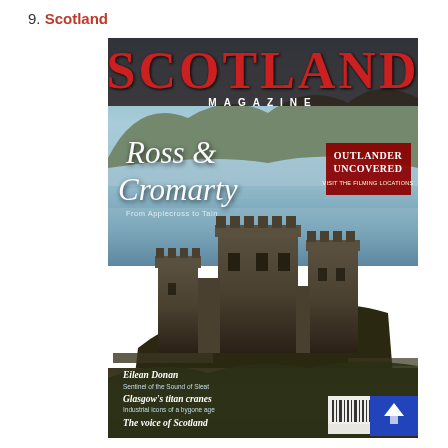9. Scotland
[Figure (photo): Cover of Scotland Magazine featuring Eilean Donan Castle reflected in the loch, with mountains in the background. Red masthead reads SCOTLAND in large letters, MAGAZINE below. Cover lines include Ross & Cromarty: From Applecross to Tain, Outlander Uncovered, Eilean Donan - Sentinel of the Sound of Sleat, Glasgow's titan cranes - Industrial icons of a bygone age, The voice of Scotland.]